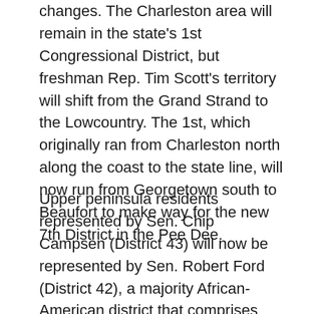changes. The Charleston area will remain in the state's 1st Congressional District, but freshman Rep. Tim Scott's territory will shift from the Grand Strand to the Lowcountry. The 1st, which originally ran from Charleston north along the coast to the state line, will now run from Georgetown south to Beaufort to make way for the new 7th District in the Pee Dee.
Upper peninsula residents represented by Sen. Chip Campsen (District 43) will now be represented by Sen. Robert Ford (District 42), a majority African-American district that comprises much of North Charleston. Campsen's district will now represent the Sea Islands from Parris Island north to Bull Island, a district that's nearly 77